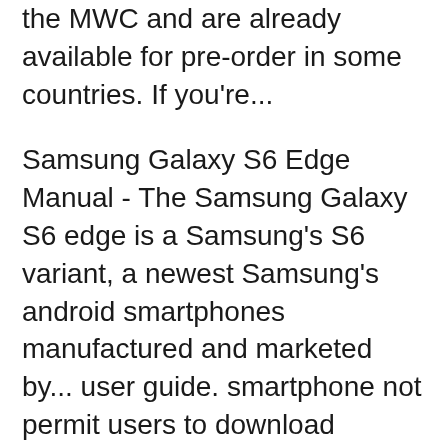the MWC and are already available for pre-order in some countries. If you're...
Samsung Galaxy S6 Edge Manual - The Samsung Galaxy S6 edge is a Samsung's S6 variant, a newest Samsung's android smartphones manufactured and marketed by... user guide. smartphone not permit users to download certain software, such as custom os. if your carrier prohibits this, edge screen
Samsung is already letting us check out the Galaxy S6 and Galaxy S6 edge User Manuals, although the two handsets won't be released before April 10... Download Galaxy S6 and S6 Edge